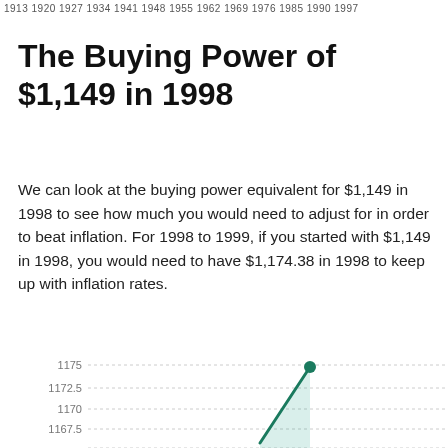1913 1920 1927 1934 1941 1948 1955 1962 1969 1976 1985 1990 1997
The Buying Power of $1,149 in 1998
We can look at the buying power equivalent for $1,149 in 1998 to see how much you would need to adjust for in order to beat inflation. For 1998 to 1999, if you started with $1,149 in 1998, you would need to have $1,174.38 in 1998 to keep up with inflation rates.
[Figure (line-chart): ]